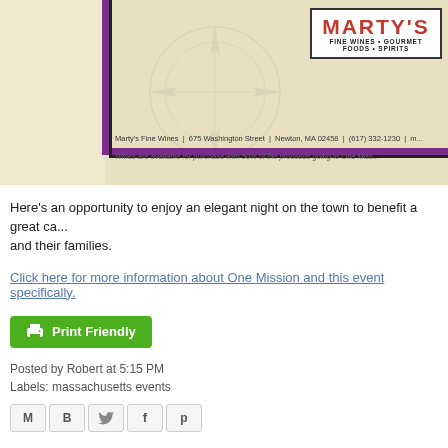[Figure (photo): Marty's Fine Wines, Gourmet Foods, Spirits banner/advertisement with logo, compass watermark, address: Marty's Fine Wines | 675 Washington Street | Newton, MA 02458 | (617) 332-1230, and text about wines available for purchase with 50% of proceeds going to One Mission.]
Here's an opportunity to enjoy an elegant night on the town to benefit a great ca... and their families.
Click here for more information about One Mission and this event specifically.
[Figure (other): Print Friendly green button with printer icon]
Posted by Robert at 5:15 PM
Labels: massachusetts events
[Figure (other): Social sharing icons: email (M), Blogger (B), Twitter bird, Facebook (f), Pinterest (p)]